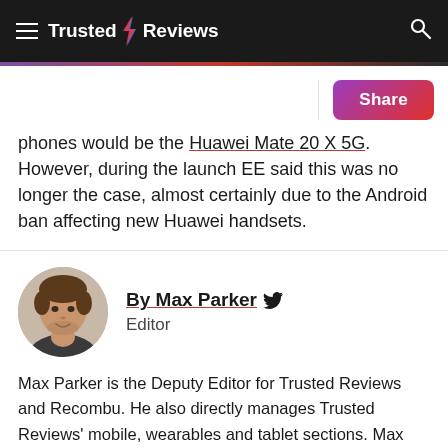Trusted Reviews
phones would be the Huawei Mate 20 X 5G. However, during the launch EE said this was no longer the case, almost certainly due to the Android ban affecting new Huawei handsets.
By Max Parker
Editor
Max Parker is the Deputy Editor for Trusted Reviews and Recombu. He also directly manages Trusted Reviews' mobile, wearables and tablet sections. Max joined Trusted Reviews as a features writer in 201...